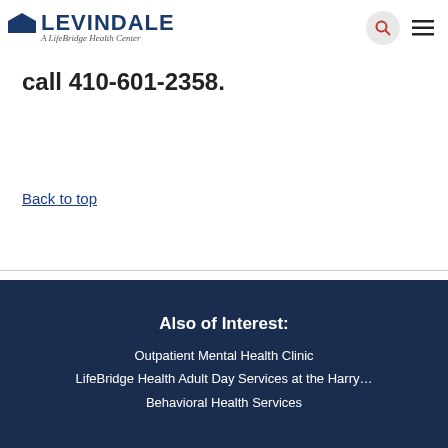LEVINDALE — A LifeBridge Health Center
call 410-601-2358.
Back to top
Also of Interest:
Outpatient Mental Health Clinic
LifeBridge Health Adult Day Services at the Harry…
Behavioral Health Services